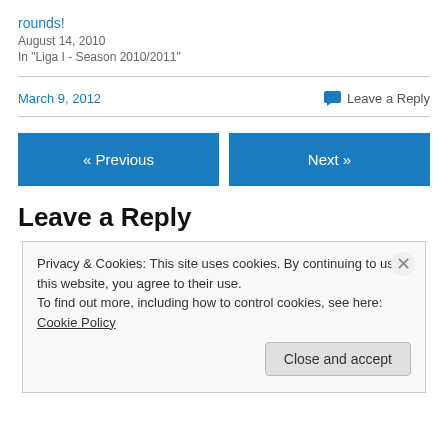rounds!
August 14, 2010
In "Liga I - Season 2010/2011"
March 9, 2012
Leave a Reply
« Previous
Next »
Leave a Reply
Privacy & Cookies: This site uses cookies. By continuing to use this website, you agree to their use. To find out more, including how to control cookies, see here: Cookie Policy
Close and accept